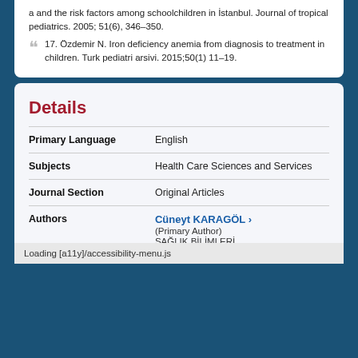a and the risk factors among schoolchildren in Istanbul. Journal of tropical pediatrics. 2005; 51(6), 346–350.
17. Özdemir N. Iron deficiency anemia from diagnosis to treatment in children. Turk pediatri arsivi. 2015;50(1) 11–19.
Details
|  |  |
| --- | --- |
| Primary Language | English |
| Subjects | Health Care Sciences and Services |
| Journal Section | Original Articles |
| Authors | Cüneyt KARAGÖL ›
(Primary Author)
SAĞLIK BİLİMLERİ
ÜNİVERSİTESİ, ANKARA |
Loading [a11y]/accessibility-menu.js